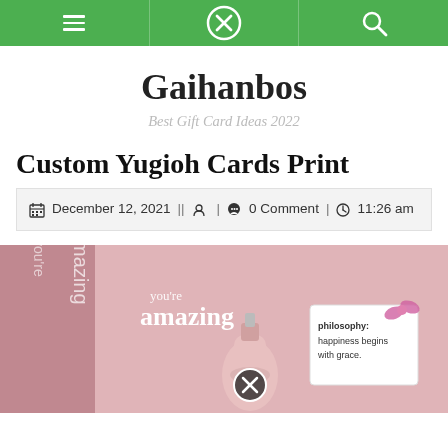Navigation bar with hamburger menu, X/close icon, and search icon
Gaihanbos
Best Gift Card Ideas 2022
Custom Yugioh Cards Print
December 12, 2021 || [user icon] | [comment icon] 0 Comment | [clock icon] 11:26 am
[Figure (photo): Pink gift box product photo with 'you're amazing' text and a philosophy brand bottle with tag reading 'philosophy: happiness begins with grace.']